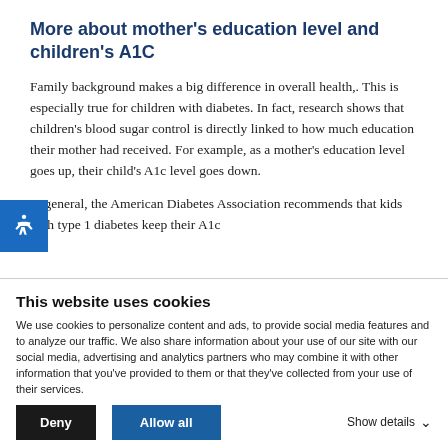More about mother's education level and children's A1C
Family background makes a big difference in overall health,. This is especially true for children with diabetes. In fact, research shows that children's blood sugar control is directly linked to how much education their mother had received. For example, as a mother's education level goes up, their child's A1c level goes down.
In general, the American Diabetes Association recommends that kids with type 1 diabetes keep their A1c
This website uses cookies
We use cookies to personalize content and ads, to provide social media features and to analyze our traffic. We also share information about your use of our site with our social media, advertising and analytics partners who may combine it with other information that you've provided to them or that they've collected from your use of their services.